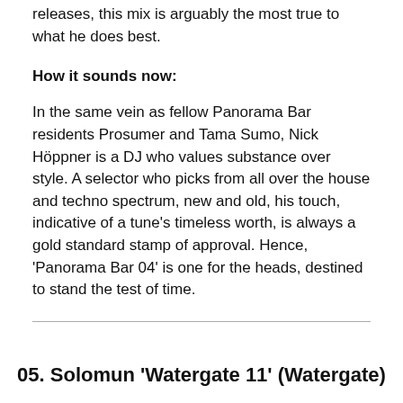releases, this mix is arguably the most true to what he does best.
How it sounds now:
In the same vein as fellow Panorama Bar residents Prosumer and Tama Sumo, Nick Höppner is a DJ who values substance over style. A selector who picks from all over the house and techno spectrum, new and old, his touch, indicative of a tune's timeless worth, is always a gold standard stamp of approval. Hence, 'Panorama Bar 04' is one for the heads, destined to stand the test of time.
05. Solomun 'Watergate 11' (Watergate)